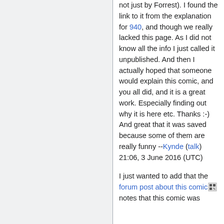not just by Forrest). I found the link to it from the explanation for 940, and though we really lacked this page. As I did not know all the info I just called it unpublished. And then I actually hoped that someone would explain this comic, and you all did, and it is a great work. Especially finding out why it is here etc. Thanks :-) And great that it was saved because some of them are really funny --Kynde (talk) 21:06, 3 June 2016 (UTC)
I just wanted to add that the forum post about this comic notes that this comic was